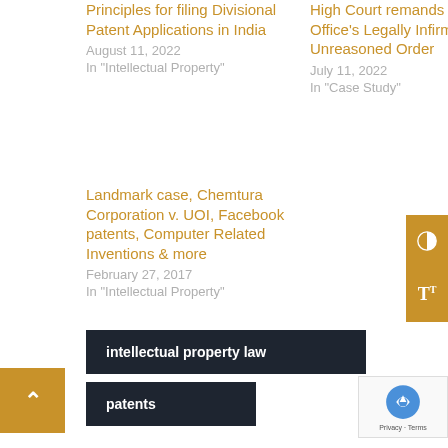Principles for filing Divisional Patent Applications in India
August 11, 2022
In "Intellectual Property"
High Court remands Patent Office's Legally Infirm and Unreasoned Order
July 11, 2022
In "Case Study"
Landmark case, Chemtura Corporation v. UOI, Facebook patents, Computer Related Inventions & more
February 27, 2017
In "Intellectual Property"
intellectual property law
patents